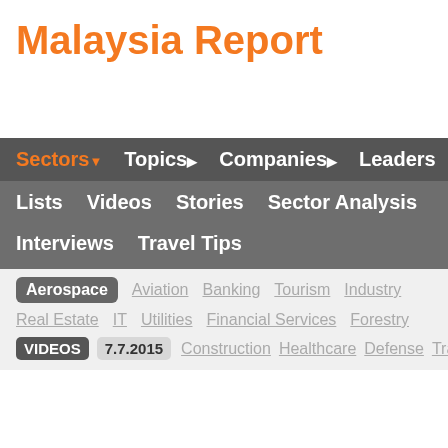Malaysia Report
Sectors | Topics | Companies | Leaders | Lists | Videos | Stories | Sector Analysis | Interviews | Travel Tips
Aerospace  Aviation  Banking  Tourism  Industry
Real Estate  IT  Utilities  Financial Services  Forestry
VIDEOS  7.7.2015  Construction  Healthcare  Defense  Transportation